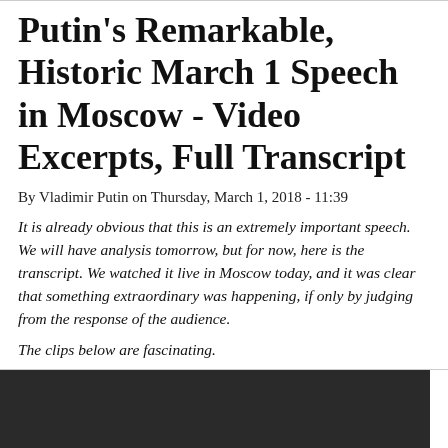Putin's Remarkable, Historic March 1 Speech in Moscow - Video Excerpts, Full Transcript
By Vladimir Putin on Thursday, March 1, 2018 - 11:39
It is already obvious that this is an extremely important speech. We will have analysis tomorrow, but for now, here is the transcript. We watched it live in Moscow today, and it was clear that something extraordinary was happening, if only by judging from the response of the audience.
The clips below are fascinating.
[Figure (screenshot): Dark/black video thumbnail area at the bottom of the page]